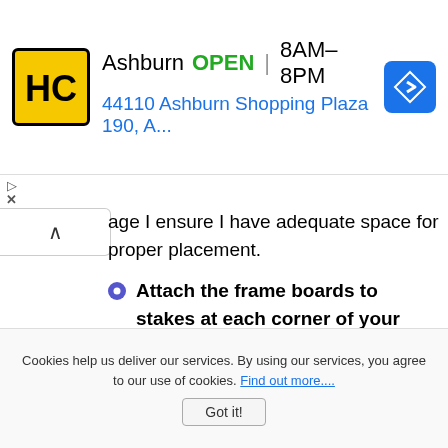[Figure (screenshot): Ad banner for Home Depot Ashburn store showing logo, OPEN status, hours 8AM-8PM, address 44110 Ashburn Shopping Plaza 190, A..., and navigation arrow icon]
age I ensure I have adequate space for proper placement.
Attach the frame boards to stakes at each corner of your excavated area. Depending on the span you made need to place stakes according to the length of your boards for support. Level the boards but remember to allow for slope. Plan for 1/4" slope per linear foot of patio to ensure proper drainage.
Test it! Lay your outdoor patio tile (like
Cookies help us deliver our services. By using our services, you agree to our use of cookies. Find out more....
Got it!